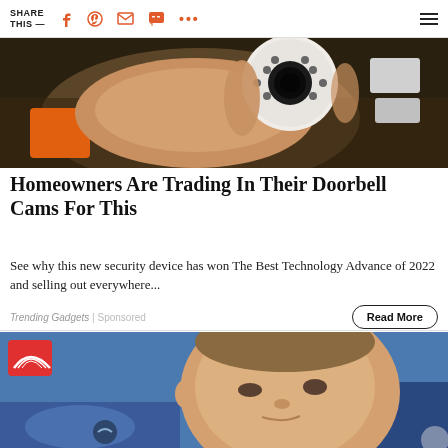SHARE THIS — [social icons: Facebook, Pinterest, Email, Chat, More, Menu]
[Figure (photo): Hand holding a small white dome security camera against a dark background with packaging materials visible]
Homeowners Are Trading In Their Doorbell Cams For This
See why this new security device has won The Best Technology Advance of 2022 and selling out everywhere...
Trending Gadgets | Sponsored
Read More
[Figure (photo): Young boy looking up at camera, wearing blue jacket, with NBC rainbow logo badge in top-left corner]